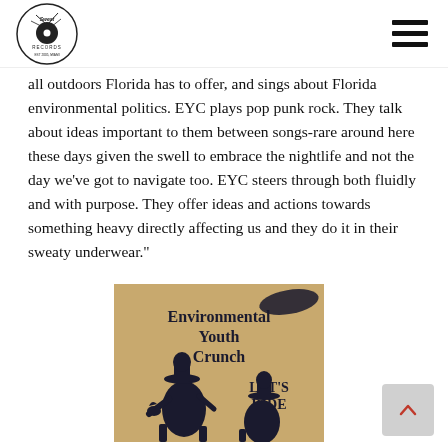Sweat Records logo and navigation menu
all outdoors Florida has to offer, and sings about Florida environmental politics. EYC plays pop punk rock. They talk about ideas important to them between songs-rare around here these days given the swell to embrace the nightlife and not the day we've got to navigate too. EYC steers through both fluidly and with purpose. They offer ideas and actions towards something heavy directly affecting us and they do it in their sweaty underwear."
[Figure (photo): Album cover for Environmental Youth Crunch - LET'S RIDE. Tan/kraft paper background with dark navy illustration of cowboys on horses. Text reads 'Environmental Youth Crunch' and 'LET'S RIDE'.]